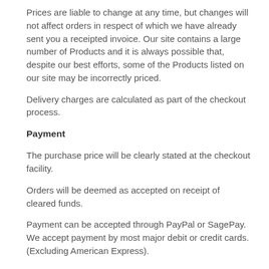Prices are liable to change at any time, but changes will not affect orders in respect of which we have already sent you a receipted invoice.  Our site contains a large number of Products and it is always possible that, despite our best efforts, some of the Products listed on our site may be incorrectly priced.
Delivery charges are calculated as part of the checkout process.
Payment
The purchase price will be clearly stated at the checkout facility.
Orders will be deemed as accepted on receipt of cleared funds.
Payment can be accepted through PayPal or SagePay.  We accept payment by most major debit or credit cards. (Excluding American Express).